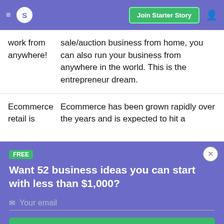S  Join Starter Story
work from anywhere! — sale/auction business from home, you can also run your business from anywhere in the world. This is the entrepreneur dream.
Ecommerce retail is — Ecommerce has been grown rapidly over the years and is expected to hit a
FREE
Want 52 business ideas you can start with less than $1,000?
Your email
Send Now